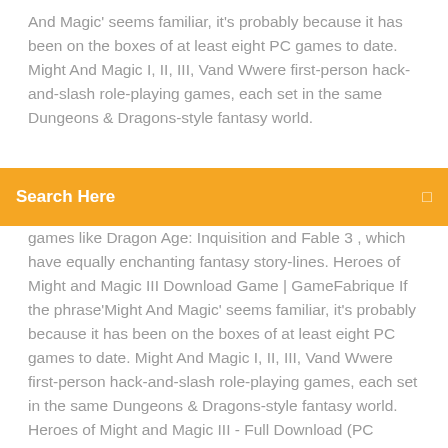And Magic' seems familiar, it's probably because it has been on the boxes of at least eight PC games to date. Might And Magic I, II, III, Vand Wwere first-person hack-and-slash role-playing games, each set in the same Dungeons & Dragons-style fantasy world.
[Figure (other): Orange search bar with placeholder text 'Search Here' and a small icon on the right]
games like Dragon Age: Inquisition and Fable 3 , which have equally enchanting fantasy story-lines. Heroes of Might and Magic III Download Game | GameFabrique If the phrase'Might And Magic' seems familiar, it's probably because it has been on the boxes of at least eight PC games to date. Might And Magic I, II, III, Vand Wwere first-person hack-and-slash role-playing games, each set in the same Dungeons & Dragons-style fantasy world. Heroes of Might and Magic III - Full Download (PC Windows ... Forge the destinies of mighty and magical heroes, leading fantastic and ferocious creatures in a game that